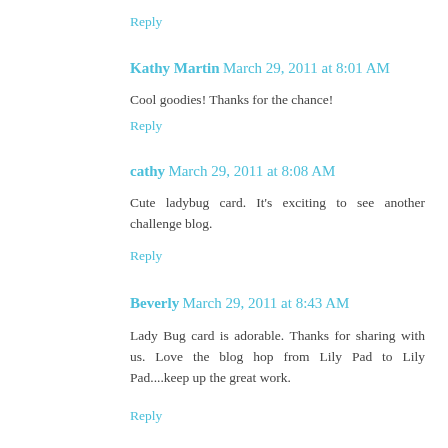Reply
Kathy Martin  March 29, 2011 at 8:01 AM
Cool goodies! Thanks for the chance!
Reply
cathy  March 29, 2011 at 8:08 AM
Cute ladybug card. It's exciting to see another challenge blog.
Reply
Beverly  March 29, 2011 at 8:43 AM
Lady Bug card is adorable. Thanks for sharing with us. Love the blog hop from Lily Pad to Lily Pad....keep up the great work.
Reply